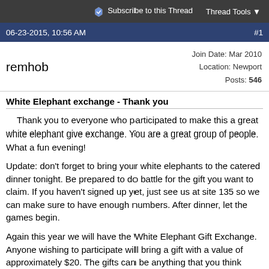Subscribe to this Thread   Thread Tools
06-23-2015, 10:56 AM   #1
remhob   Join Date: Mar 2010  Location: Newport  Posts: 546
White Elephant exchange - Thank you
Thank you to everyone who participated to make this a great white elephant give exchange. You are a great group of people. What a fun evening!
Update: don't forget to bring your white elephants to the catered dinner tonight. Be prepared to do battle for the gift you want to claim. If you haven't signed up yet, just see us at site 135 so we can make sure to have enough numbers. After dinner, let the games begin.
Again this year we will have the White Elephant Gift Exchange. Anyone wishing to participate will bring a gift with a value of approximately $20. The gifts can be anything that you think another MOC member would enjoy. Let your imagination run wild. Please let us know how many people from your rig will participate. This is